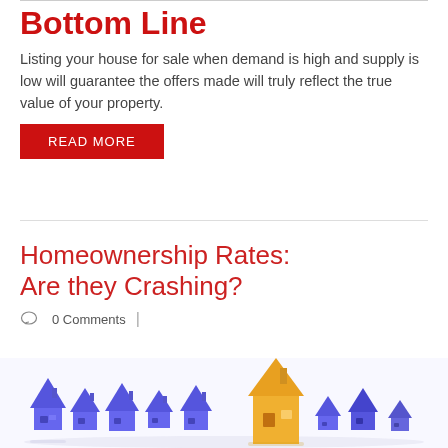Bottom Line
Listing your house for sale when demand is high and supply is low will guarantee the offers made will truly reflect the true value of your property.
READ MORE
Homeownership Rates: Are they Crashing?
0 Comments
[Figure (photo): Row of small blue house figurines with one tall orange house figurine standing out among them, on a white reflective surface.]